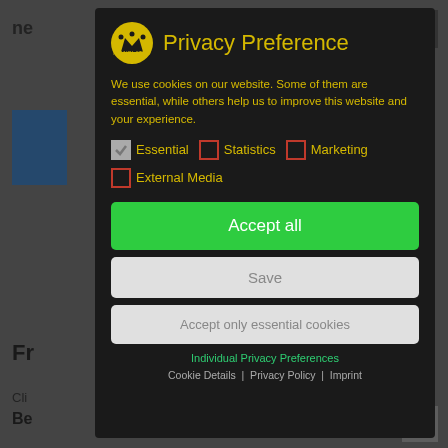[Figure (screenshot): Website background showing partial navigation text 'ne', a blue sidebar bar, partial heading 'Fr', text 'Cli', bold text 'Be', hamburger menu icon top right, scroll-to-top arrow bottom right]
Privacy Preference
We use cookies on our website. Some of them are essential, while others help us to improve this website and your experience.
Essential (checked)
Statistics (unchecked)
Marketing (unchecked)
External Media (unchecked)
Accept all
Save
Accept only essential cookies
Individual Privacy Preferences
Cookie Details | Privacy Policy | Imprint